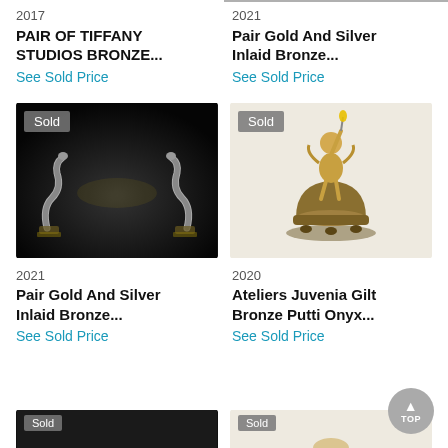2017
PAIR OF TIFFANY STUDIOS BRONZE...
See Sold Price
2021
Pair Gold And Silver Inlaid Bronze...
See Sold Price
[Figure (photo): Two silver snake-shaped bronze handles on dark background, marked Sold]
[Figure (photo): Gilt bronze putti figure on onyx base, marked Sold]
2021
Pair Gold And Silver Inlaid Bronze...
See Sold Price
2020
Ateliers Juvenia Gilt Bronze Putti Onyx...
See Sold Price